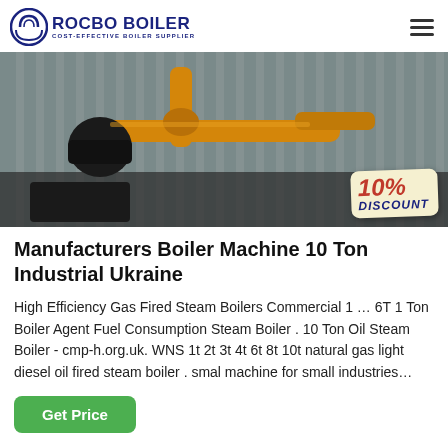ROCBO BOILER COST-EFFECTIVE BOILER SUPPLIER
[Figure (photo): Industrial boiler equipment with yellow pipes and corrugated metal background, with a 10% DISCOUNT badge in the bottom right corner]
Manufacturers Boiler Machine 10 Ton Industrial Ukraine
High Efficiency Gas Fired Steam Boilers Commercial 1 … 6T 1 Ton Boiler Agent Fuel Consumption Steam Boiler . 10 Ton Oil Steam Boiler - cmp-h.org.uk. WNS 1t 2t 3t 4t 6t 8t 10t natural gas light diesel oil fired steam boiler . smal machine for small industries…
Get Price